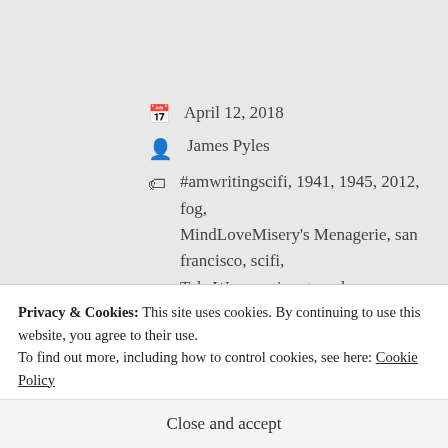April 12, 2018
James Pyles
#amwritingscifi, 1941, 1945, 2012, fog, MindLoveMisery's Menagerie, san francisco, scifi, Tale Weaver, time travel
15 Comments
[Figure (illustration): Decorative ornamental divider with scrollwork and floral elements]
Privacy & Cookies: This site uses cookies. By continuing to use this website, you agree to their use.
To find out more, including how to control cookies, see here: Cookie Policy
Close and accept